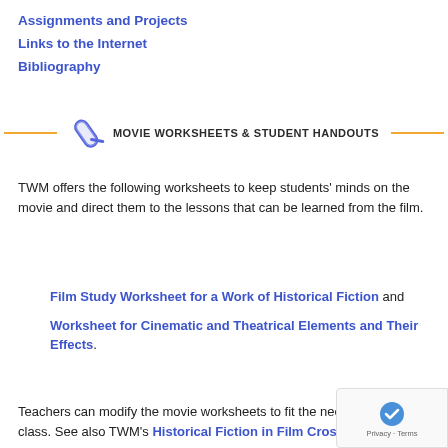Assignments and Projects
Links to the Internet
Bibliography
MOVIE WORKSHEETS & STUDENT HANDOUTS
TWM offers the following worksheets to keep students' minds on the movie and direct them to the lessons that can be learned from the film.
Film Study Worksheet for a Work of Historical Fiction and
Worksheet for Cinematic and Theatrical Elements and Their Effects.
Teachers can modify the movie worksheets to fit the needs of each class. See also TWM's Historical Fiction in Film Cross...